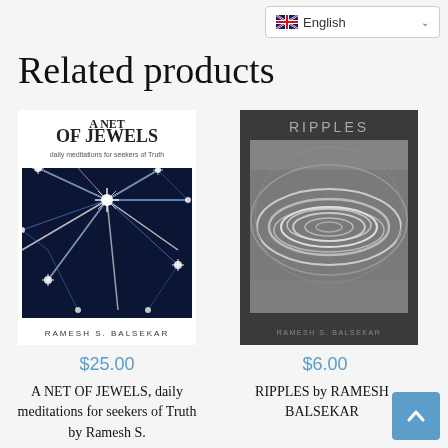English
Related products
[Figure (photo): Book cover: A NET OF JEWELS, daily meditations for seekers of Truth by Ramesh S. Balsekar. White background with star/light network image on dark background.]
$25.00
A NET OF JEWELS, daily meditations for seekers of Truth by Ramesh S.
[Figure (photo): Book cover: RIPPLES by Ramesh Balsekar. Dark gray background with swirling ripple/wave pattern image.]
$6.00
RIPPLES by RAMESH BALSEKAR